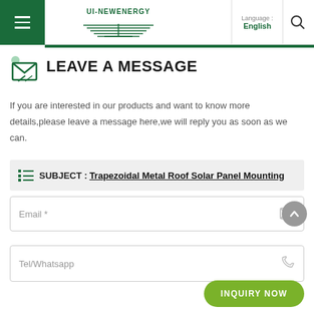[Figure (logo): UI-NEWENERGY logo with solar panel illustration]
Language : English
LEAVE A MESSAGE
If you are interested in our products and want to know more details,please leave a message here,we will reply you as soon as we can.
SUBJECT : Trapezoidal Metal Roof Solar Panel Mounting
Email *
Tel/Whatsapp
INQUIRY NOW